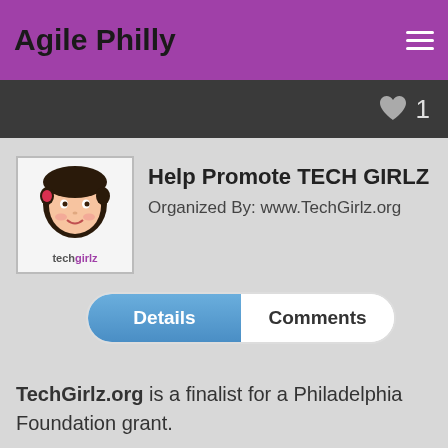Agile Philly
[Figure (logo): TechGirlz logo — cartoon girl face with 'techgirlz' text]
Help Promote TECH GIRLZ
Organized By: www.TechGirlz.org
Details | Comments (tab buttons)
TechGirlz.org is a finalist for a Philadelphia Foundation grant.

Help with this important honor by voting and encouraging your friends, family and colleagues to vote at -